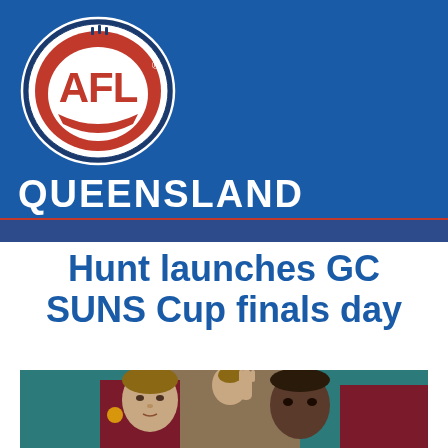[Figure (logo): AFL Queensland logo — blue oval badge with white AFL text and red football graphic, with QUEENSLAND text below in white on blue background]
Hunt launches GC SUNS Cup finals day
[Figure (photo): Two young people sitting indoors, one in background raising hand, wearing AFL team jerseys in teal/maroon colors]